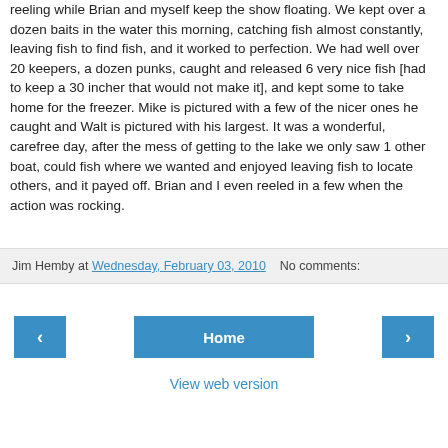reeling while Brian and myself keep the show floating. We kept over a dozen baits in the water this morning, catching fish almost constantly, leaving fish to find fish, and it worked to perfection. We had well over 20 keepers, a dozen punks, caught and released 6 very nice fish [had to keep a 30 incher that would not make it], and kept some to take home for the freezer. Mike is pictured with a few of the nicer ones he caught and Walt is pictured with his largest. It was a wonderful, carefree day, after the mess of getting to the lake we only saw 1 other boat, could fish where we wanted and enjoyed leaving fish to locate others, and it payed off. Brian and I even reeled in a few when the action was rocking.
Jim Hemby at Wednesday, February 03, 2010   No comments:
‹  Home  ›
View web version